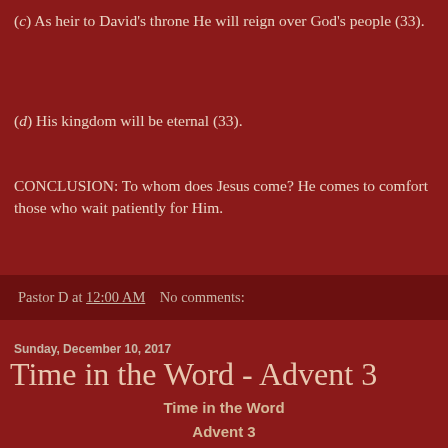(c) As heir to David's throne He will reign over God's people (33).
(d) His kingdom will be eternal (33).
CONCLUSION: To whom does Jesus come? He comes to comfort those who wait patiently for Him.
Pastor D at 12:00 AM    No comments:
Sunday, December 10, 2017
Time in the Word - Advent 3
Time in the Word
Advent 3
December 11-16, 2017
[Figure (photo): A dark photo showing a doorway or interior scene with dim lighting and a hint of color in the lower portion.]